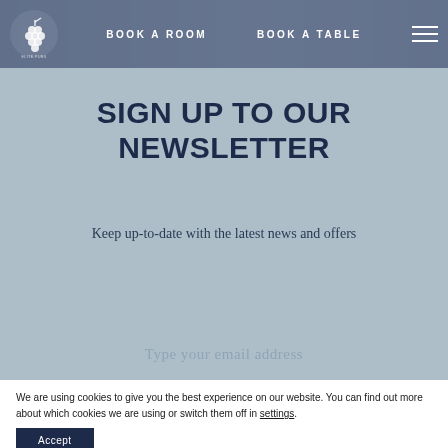[Figure (logo): Elite Pubs logo - white illustration of grapes/vine on dark background]
BOOK A ROOM   BOOK A TABLE
SIGN UP TO OUR NEWSLETTER
Keep up-to-date with the latest news and offers
Type your email address
We are using cookies to give you the best experience on our website. You can find out more about which cookies we are using or switch them off in settings.
Accept